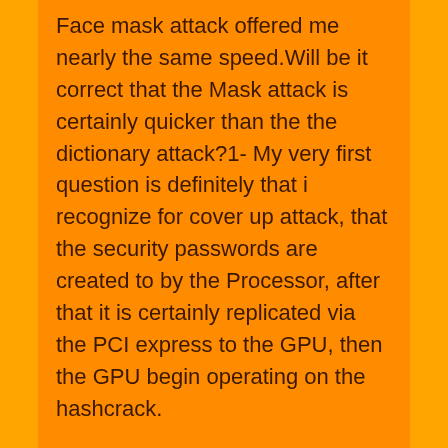Face mask attack offered me nearly the same speed.Will be it correct that the Mask attack is certainly quicker than the the dictionary attack?1- My very first question is definitely that i recognize for cover up attack, that the security passwords are created to by the Processor, after that it is certainly replicated via the PCI express to the GPU, then the GPU begin operating on the hashcrack.
/magix-music-maker-14-activation-keygen-torrent.html. Magix Music Maker Activation Code with Torrent Download is here: Here by, Magix Music Maker Keygen comes with full